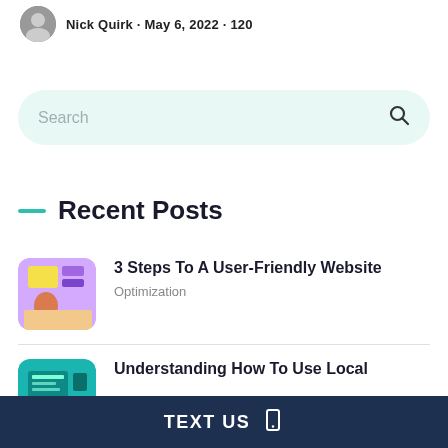Nick Quirk · May 6, 2022 · 120
Search
Recent Posts
[Figure (illustration): Thumbnail illustration of a person working at a computer with colorful UI elements]
3 Steps To A User-Friendly Website
Optimization
[Figure (illustration): Thumbnail image partially visible for second post about Understanding How To Use Local]
Understanding How To Use Local
TEXT US